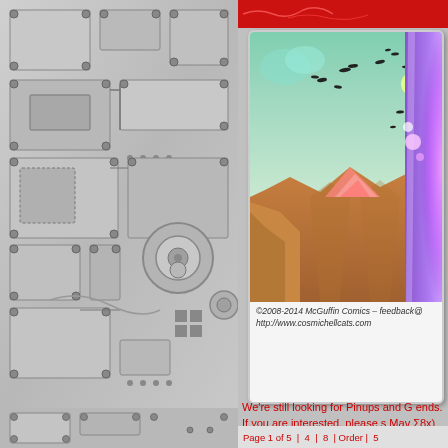[Figure (illustration): Left half of page showing a metallic/mechanical tech panel background in grayscale with bolts, panels, circuit-like patterns and mechanical components]
[Figure (illustration): Comic book style illustration showing a canyon scene with teal sky, pink energy beams, black bird silhouettes, and a purple figure on the right edge]
©2008-2014 McGuffin Comics - feedback@
http://www.cosmichellcats.com
We're still looking for Pinups and G ends. If you are interested, please s Mav Σ8x)
Page 1 of 5 | 4 | 8 | Order | 5